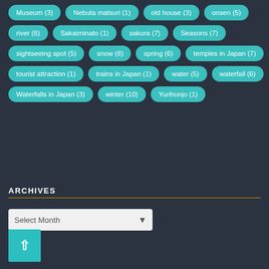Museum (3)
Nebuta matsuri (1)
old house (3)
onsen (5)
river (6)
Sakaiminato (1)
sakura (7)
Seasons (7)
sightseeing spot (5)
snow (8)
spring (6)
temples in Japan (7)
tourist attraction (1)
trains in Japan (1)
water (5)
waterfall (6)
Waterfalls in Japan (3)
winter (10)
Yurihonjo (1)
ARCHIVES
Select Month